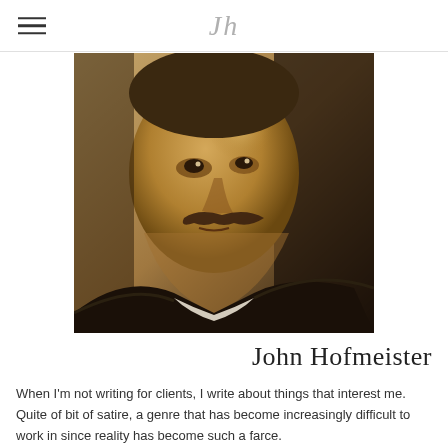Jh
[Figure (photo): Sepia-toned portrait photo of John Hofmeister, a middle-aged man with a mustache wearing what appears to be a dark jacket with a white collar]
John Hofmeister
When I'm not writing for clients, I write about things that interest me. Quite of bit of satire, a genre that has become increasingly difficult to work in since reality has become such a farce.